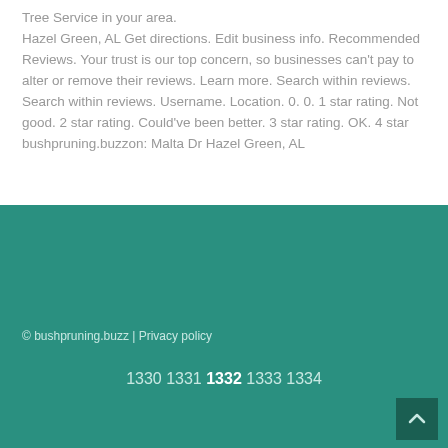Tree Service in your area. Hazel Green, AL Get directions. Edit business info. Recommended Reviews. Your trust is our top concern, so businesses can't pay to alter or remove their reviews. Learn more. Search within reviews. Search within reviews. Username. Location. 0. 0. 1 star rating. Not good. 2 star rating. Could've been better. 3 star rating. OK. 4 star bushpruning.buzzon: Malta Dr Hazel Green, AL
© bushpruning.buzz | Privacy policy
1330 1331 1332 1333 1334